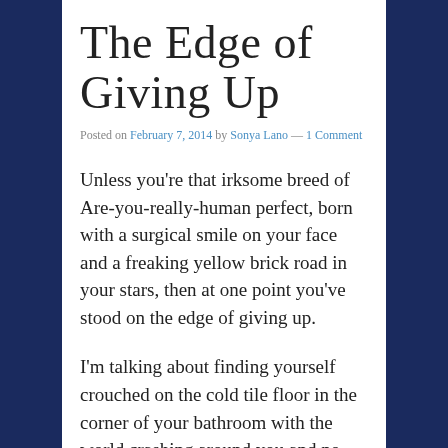The Edge of Giving Up
Posted on February 7, 2014 by Sonya Lano — 1 Comment
Unless you're that irksome breed of Are-you-really-human perfect, born with a surgical smile on your face and a freaking yellow brick road in your stars, then at one point you've stood on the edge of giving up.
I'm talking about finding yourself crouched on the cold tile floor in the corner of your bathroom with the world crashing around you and no one who gives half a crap in the same